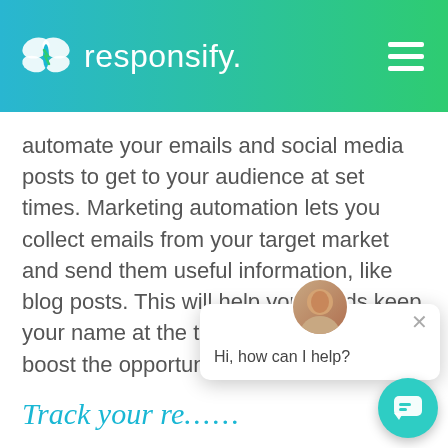responsify.
automate your emails and social media posts to get to your audience at set times. Marketing automation lets you collect emails from your target market and send them useful information, like blog posts. This will help your leads keep your name at the top of their mind and boost the opportunities of y
Track your re...
Every so often, you need to check how your Inbound marketing is playing out your Clinical Administration and Backend